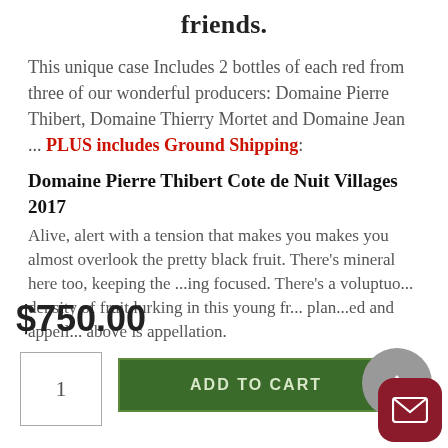friends.
This unique case Includes 2 bottles of each red from three of our wonderful producers: Domaine Pierre Thibert, Domaine Thierry Mortet and Domaine Jean ... PLUS includes Ground Shipping:
Domaine Pierre Thibert Cote de Nuit Villages 2017
Alive, alert with a tension that makes you makes you almost overlook the pretty black fruit. There's mineral here too, keeping the ...ing focused. There's a voluptuous density of fruit lurking in this young fr... plan...ed and appell...on above is appellation.
$750.00
1
ADD TO CART